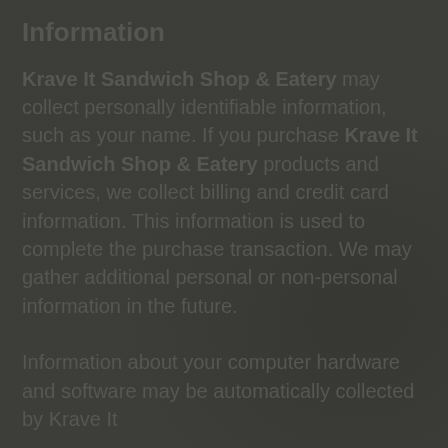Information
Krave It Sandwich Shop & Eatery may collect personally identifiable information, such as your name. If you purchase Krave It Sandwich Shop & Eatery products and services, we collect billing and credit card information. This information is used to complete the purchase transaction. We may gather additional personal or non-personal information in the future.
Information about your computer hardware and software may be automatically collected by Krave It